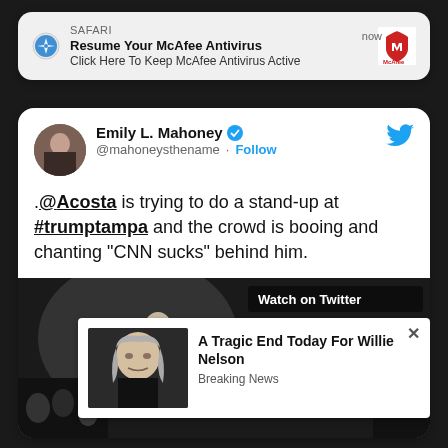[Figure (screenshot): Safari browser notification banner showing McAfee Antivirus ad with text 'Resume Your McAfee Antivirus' and 'Click Here To Keep McAfee Antivirus Active', with McAfee logo on right and 'now' timestamp]
[Figure (screenshot): Twitter/X tweet card from Emily L. Mahoney (@mahoneysthename) with verified badge and Follow button. Tweet text: '.@Acosta is trying to do a stand-up at #trumptampa and the crowd is booing and chanting "CNN sucks" behind him.' Below is a media embed showing a video with 'Watch on Twitter' label, and an ad overlay for 'A Tragic End Today For Willie Nelson - Breaking News']